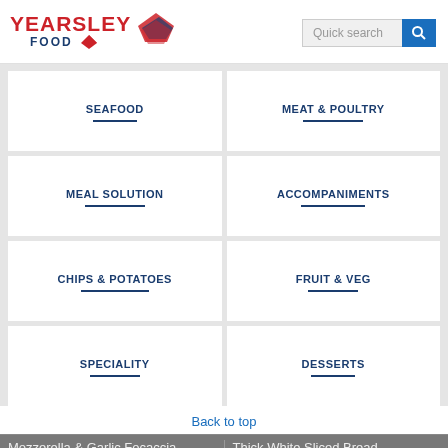[Figure (logo): Yearsley Food logo with red text and blue diamond graphic]
Quick search
SEAFOOD
MEAT & POULTRY
MEAL SOLUTION
ACCOMPANIMENTS
CHIPS & POTATOES
FRUIT & VEG
SPECIALITY
DESSERTS
Back to top
Mozzerella & Garlic Focaccia
Bolton
28 x 150g
Thick White Sliced Bread
Yarangley's Bakery
We have updated our privacy policy - please read the full policy or simply accept these changes.